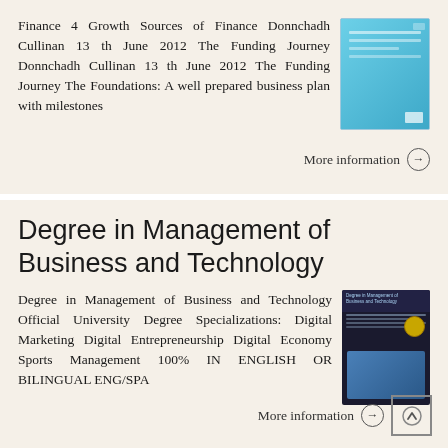Finance 4 Growth Sources of Finance Donnchadh Cullinan 13 th June 2012 The Funding Journey Donnchadh Cullinan 13 th June 2012 The Funding Journey The Foundations: A well prepared business plan with milestones
[Figure (illustration): Blue book cover thumbnail for Finance 4 Growth presentation]
More information →
Degree in Management of Business and Technology
Degree in Management of Business and Technology Official University Degree Specializations: Digital Marketing Digital Entrepreneurship Digital Economy Sports Management 100% IN ENGLISH OR BILINGUAL ENG/SPA
[Figure (illustration): Book cover for Degree in Management of Business and Technology with a tablet device graphic]
More information →